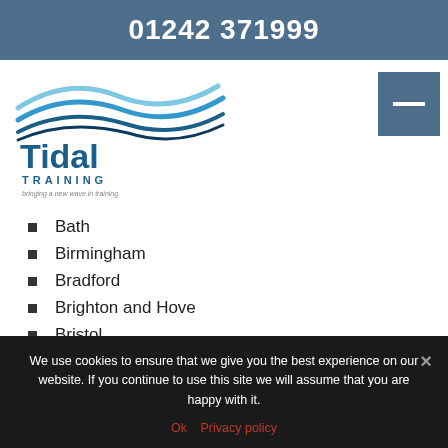01242 371999
[Figure (logo): Tidal Training logo with wave graphic and tagline 'bringing a new wave in training']
Bath
Birmingham
Bradford
Brighton and Hove
Bristol
We use cookies to ensure that we give you the best experience on our website. If you continue to use this site we will assume that you are happy with it.
Ok   Privacy policy